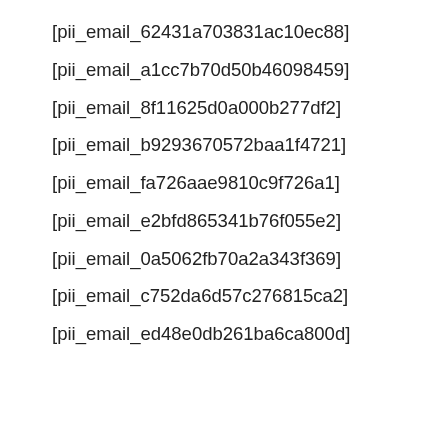[pii_email_62431a703831ac10ec88]
[pii_email_a1cc7b70d50b46098459]
[pii_email_8f11625d0a000b277df2]
[pii_email_b9293670572baa1f4721]
[pii_email_fa726aae9810c9f726a1]
[pii_email_e2bfd865341b76f055e2]
[pii_email_0a5062fb70a2a343f369]
[pii_email_c752da6d57c276815ca2]
[pii_email_ed48e0db261ba6ca800d]